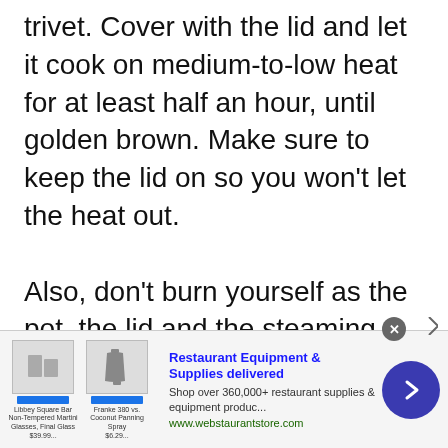trivet. Cover with the lid and let it cook on medium-to-low heat for at least half an hour, until golden brown. Make sure to keep the lid on so you won't let the heat out.

Also, don't burn yourself as the pot, the lid and the steaming rack will be hot.
[Figure (other): Advertisement banner for Restaurant Equipment & Supplies delivered from webstaurantstore.com, showing product images with star ratings and prices, a blue circular call-to-action button with a right arrow.]